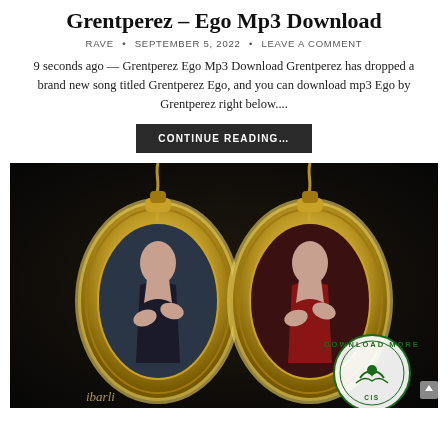Grentperez – Ego Mp3 Download
RAVE • SEPTEMBER 5, 2022 • LEAVE A COMMENT
9 seconds ago — Grentperez Ego Mp3 Download Grentperez has dropped a brand new song titled Grentperez Ego, and you can download mp3 Ego by Grentperez right below....
CONTINUE READING...
[Figure (photo): Album art for Grentperez Ego showing two gold oval locket pendants on chains against a dark velvet background, each containing a portrait of a woman. A circular stamp watermark reading 'DOWNLOAD MORE' is visible in the bottom right, along with the artist name 'ibarli' at the bottom left.]